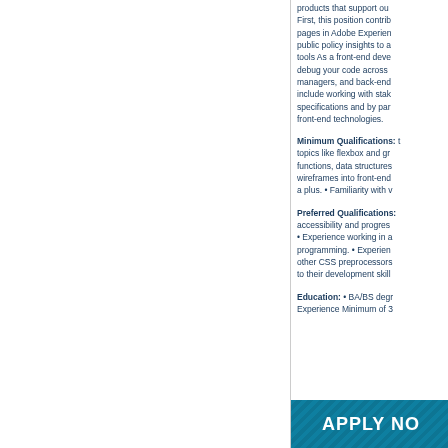products that support ou First, this position contrib pages in Adobe Experien public policy insights to a tools As a front-end deve debug your code across managers, and back-end include working with stak specifications and by par front-end technologies.
Minimum Qualifications: topics like flexbox and gr functions, data structures wireframes into front-end a plus. • Familiarity with v
Preferred Qualifications: accessibility and progres • Experience working in a programming. • Experien other CSS preprocessors to their development skill
Education: • BA/BS degr Experience Minimum of 3
[Figure (other): APPLY NOW button banner with teal/blue diagonal striped background and white bold text]